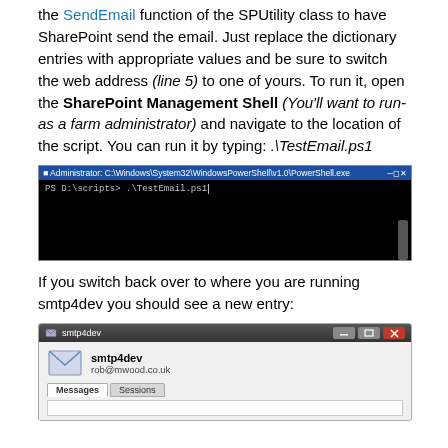the SendEmail function of the SPUtility class to have SharePoint send the email. Just replace the dictionary entries with appropriate values and be sure to switch the web address (line 5) to one of yours. To run it, open the SharePoint Management Shell (You'll want to run-as a farm administrator) and navigate to the location of the script. You can run it by typing: .\TestEmail.ps1
[Figure (screenshot): Windows PowerShell command window showing: PS D:\scripts> .\TestEmail.ps1_]
If you switch back over to where you are running smtp4dev you should see a new entry:
[Figure (screenshot): smtp4dev application window showing smtp4dev header with rob@mwood.co.uk email, Messages and Sessions tabs]